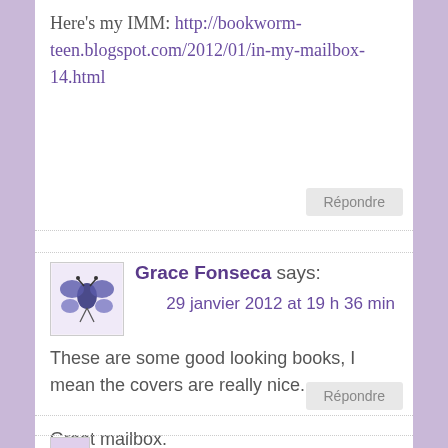Here's my IMM: http://bookworm-teen.blogspot.com/2012/01/in-my-mailbox-14.html
Répondre
Grace Fonseca says:
29 janvier 2012 at 19 h 36 min
These are some good looking books, I mean the covers are really nice.

Great mailbox.

Grace
Répondre